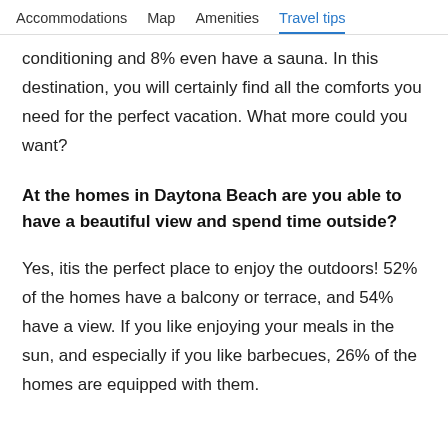Accommodations  Map  Amenities  Travel tips
conditioning and 8% even have a sauna. In this destination, you will certainly find all the comforts you need for the perfect vacation. What more could you want?
At the homes in Daytona Beach are you able to have a beautiful view and spend time outside?
Yes, itis the perfect place to enjoy the outdoors! 52% of the homes have a balcony or terrace, and 54% have a view. If you like enjoying your meals in the sun, and especially if you like barbecues, 26% of the homes are equipped with them.